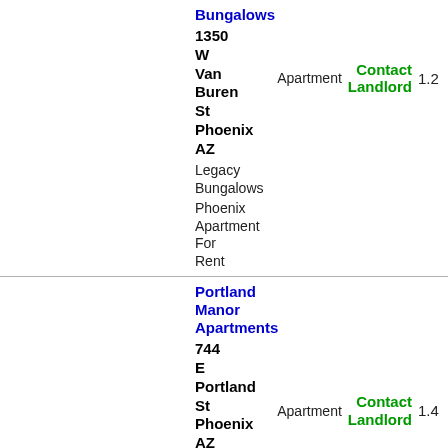| Name/Address | Sub-name | Description | Type | Contact | Score |
| --- | --- | --- | --- | --- | --- |
| Bungalows
1350 W Van Buren St Phoenix AZ | Legacy Bungalows | Phoenix Apartment For Rent | Apartment | Contact Landlord | 1.2 |
| Portland Manor Apartments
744 E Portland St Phoenix AZ | Portland Manor Apartments | Phoenix Apartment For Rent | Apartment | Contact Landlord | 1.4 |
| Dakota Apartments
313 N 15th Ave Phoenix AZ | Dakota Apartments |  | Apartment | Contact Landlord | 1.4 |